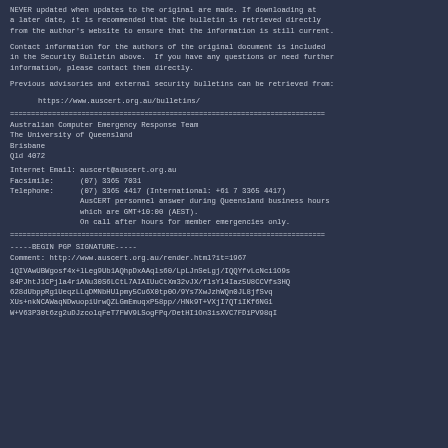NEVER updated when updates to the original are made. If downloading at a later date, it is recommended that the bulletin is retrieved directly from the author's website to ensure that the information is still current.
Contact information for the authors of the original document is included in the Security Bulletin above.  If you have any questions or need further information, please contact them directly.
Previous advisories and external security bulletins can be retrieved from:
https://www.auscert.org.au/bulletins/
===========================================================================
Australian Computer Emergency Response Team
The University of Queensland
Brisbane
Qld 4072
Internet Email: auscert@auscert.org.au
Facsimile:      (07) 3365 7031
Telephone:      (07) 3365 4417 (International: +61 7 3365 4417)
                AusCERT personnel answer during Queensland business hours
                which are GMT+10:00 (AEST).
                On call after hours for member emergencies only.
===========================================================================
-----BEGIN PGP SIGNATURE-----
Comment: http://www.auscert.org.au/render.html?it=1967
iQIVAwUBWgosf4x+lLeg9Ub1AQhpDxAAqls60/LpLJnSeLgj/IQQYfvLcNci1O9s
84PJhtJ1CPjla4r1ANu30S6LCtL7AIAIUuCtXm32vJX/flsYl4Iaz5U8CCVfs3HQ
628dUbppRg1UeqzLLqDMNbHUlpmy5Cu6X0tp0O/9Ys7XwJzhWQn0JL8jfSvq
XUs+nkNCAWaqNDwuopiUrwQZLGmEmuqxP58pp//HNk9T+VXjI7QTiIKf6NG1
W+V63P30t6zg2uDJzcolqFeT7FWV9LSogFPq/DetHI1On3isXVC7FDiPV98qI